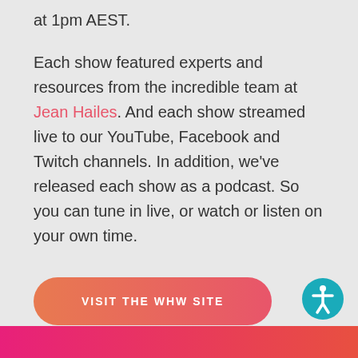at 1pm AEST.
Each show featured experts and resources from the incredible team at Jean Hailes. And each show streamed live to our YouTube, Facebook and Twitch channels. In addition, we've released each show as a podcast. So you can tune in live, or watch or listen on your own time.
[Figure (other): Orange-pink gradient rounded rectangle button with white uppercase text reading VISIT THE WHW SITE]
[Figure (other): Teal circular accessibility icon with a person figure in white, positioned in lower right corner]